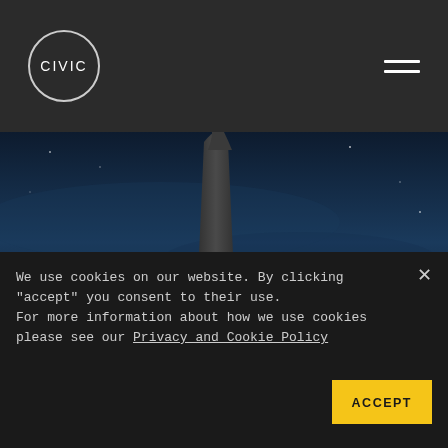[Figure (logo): CIVIC logo in a circle on dark header background]
[Figure (photo): Dark blue night sky with rocket/spacecraft silhouette in center, hero background image]
YOU BUILD THE ROCKETSHIP. WE READ
We use cookies on our website. By clicking "accept" you consent to their use.
For more information about how we use cookies please see our Privacy and Cookie Policy
ACCEPT